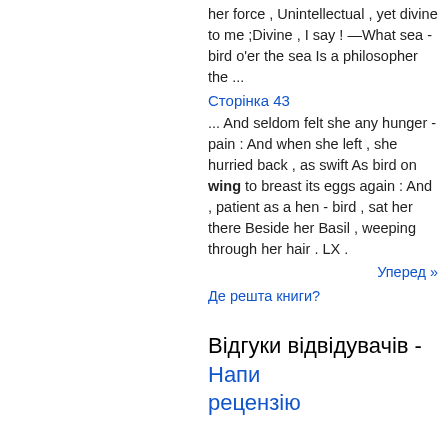her force , Unintellectual , yet divine to me ;Divine , I say ! —What sea - bird o'er the sea Is a philosopher the ...
Сторінка 43
... And seldom felt she any hunger - pain : And when she left , she hurried back , as swift As bird on wing to breast its eggs again : And , patient as a hen - bird , sat her there Beside her Basil , weeping through her hair . LX .
Уперед »
Де решта книги?
Відгуки відвідувачів - Написати рецензію